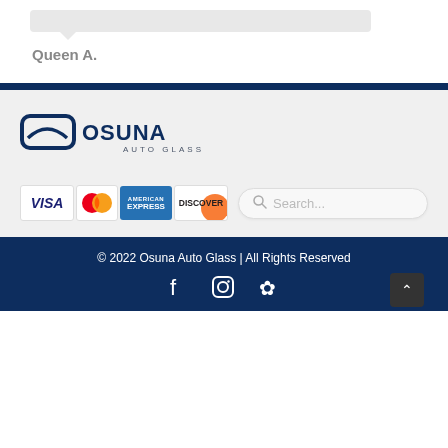[Figure (illustration): Grey rounded speech bubble shape at top]
Queen A.
[Figure (logo): Osuna Auto Glass logo with windshield icon and company name]
[Figure (illustration): Payment card icons: Visa, Mastercard, American Express, Discover]
[Figure (illustration): Search box with magnifying glass icon and placeholder text 'Search...']
© 2022 Osuna Auto Glass | All Rights Reserved
[Figure (illustration): Social media icons: Facebook, Instagram, Yelp; Back to top button]